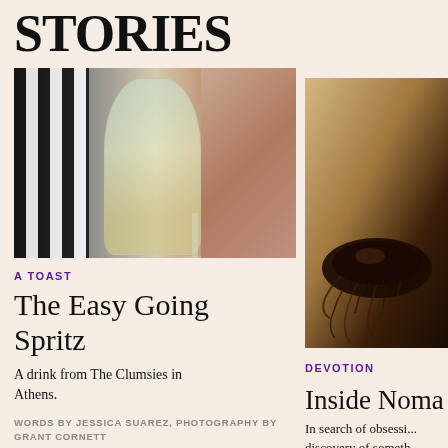STORIES
[Figure (photo): Photo of a cocktail spritz in a wine glass with mint garnish, against a black and white striped background, with a blurred peach/pink background on the right]
A TOAST
The Easy Going Spritz
A drink from The Clumsies in Athens.
WORDS BY JESSICA SUAREZ, PHOTOGRAPHY BY GRANT CORNETT
[Figure (photo): Photo of dark roots/herbs/ingredients on a wooden surface, for a Noma article]
DEVOTION
Inside Noma
In search of obsessi... discovery of someth... powerful inside the...